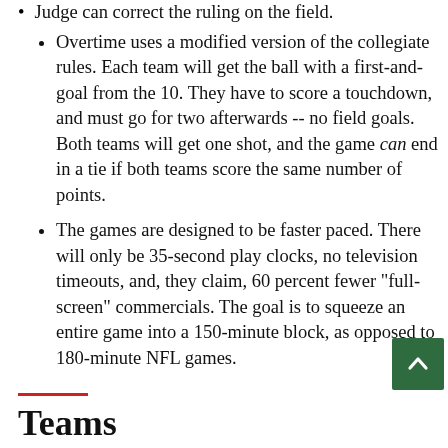Judge can correct the ruling on the field.
Overtime uses a modified version of the collegiate rules. Each team will get the ball with a first-and-goal from the 10. They have to score a touchdown, and must go for two afterwards -- no field goals. Both teams will get one shot, and the game can end in a tie if both teams score the same number of points.
The games are designed to be faster paced. There will only be 35-second play clocks, no television timeouts, and, they claim, 60 percent fewer "full-screen" commercials. The goal is to squeeze an entire game into a 150-minute block, as opposed to 180-minute NFL games.
Teams